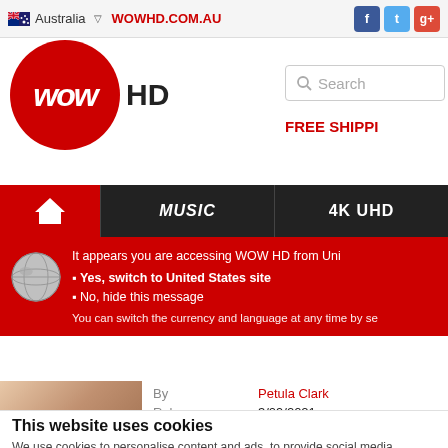Australia | WOWHD.COM.AU | Facebook | Twitter | Google+
[Figure (logo): WOW HD logo - red circle with WOW text and HD beside it]
Search
FREE SHIPPI
MUSIC | 4K UHD
It appears you are accessing WOW HD from Uni
Yes, switch to United States site
No, hide this message
You can switch the currency and language at any time by se
| Field | Value |
| --- | --- |
| By | Petula Clark |
| Release | 3/09/2021 |
| Music Genre | Rock |
| Media Format | CD |
This website uses cookies
We use cookies to personalise content and ads, to provide social media